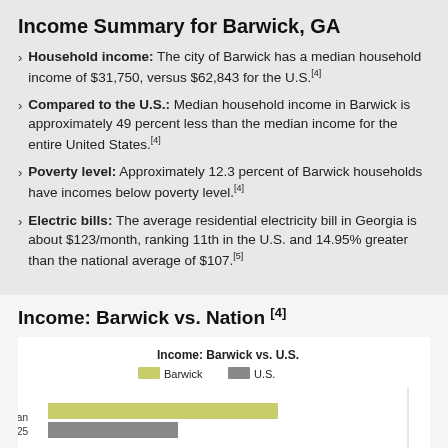Income Summary for Barwick, GA
Household income: The city of Barwick has a median household income of $31,750, versus $62,843 for the U.S.[4]
Compared to the U.S.: Median household income in Barwick is approximately 49 percent less than the median income for the entire United States.[4]
Poverty level: Approximately 12.3 percent of Barwick households have incomes below poverty level.[4]
Electric bills: The average residential electricity bill in Georgia is about $123/month, ranking 11th in the U.S. and 14.95% greater than the national average of $107.[5]
Income: Barwick vs. Nation [4]
[Figure (grouped-bar-chart): Income: Barwick vs. U.S.]